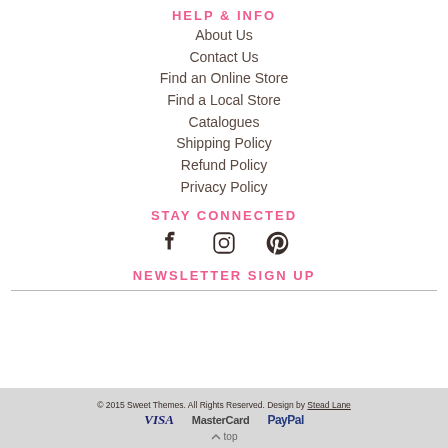HELP & INFO
About Us
Contact Us
Find an Online Store
Find a Local Store
Catalogues
Shipping Policy
Refund Policy
Privacy Policy
STAY CONNECTED
[Figure (infographic): Social media icons: Facebook, Instagram, Pinterest]
NEWSLETTER SIGN UP
© 2015 Sweet Themes. All Rights Reserved. Design by Stead Lane
[Figure (infographic): Payment icons: VISA, MasterCard, PayPal]
↑ top